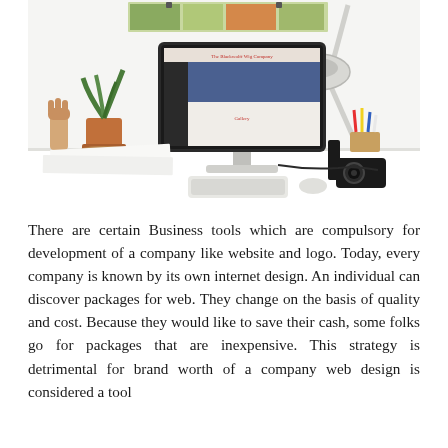[Figure (photo): A white desk workspace with an iMac computer displaying a web design project, a potted plant, a wooden hand model, a lamp, pencils in a holder, a camera, and papers on the desk.]
There are certain Business tools which are compulsory for development of a company like website and logo. Today, every company is known by its own internet design. An individual can discover packages for web. They change on the basis of quality and cost. Because they would like to save their cash, some folks go for packages that are inexpensive. This strategy is detrimental for brand worth of a company web design is considered a tool